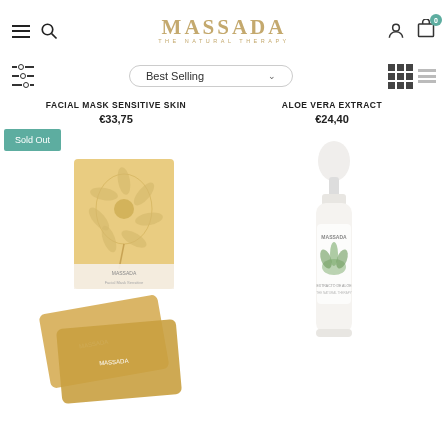MASSADA THE NATURAL THERAPY - navigation header with hamburger menu, search, user and cart icons
Best Selling (sort dropdown)
FACIAL MASK SENSITIVE SKIN
€33,75
ALOE VERA EXTRACT
€24,40
[Figure (photo): Facial mask sensitive skin product - gold/yellow packaging box with flower illustration and flat mask packets labeled MASSADA, 'Sold Out' badge in teal]
[Figure (photo): Aloe vera extract product - white dropper bottle with MASSADA label and green plant illustration]